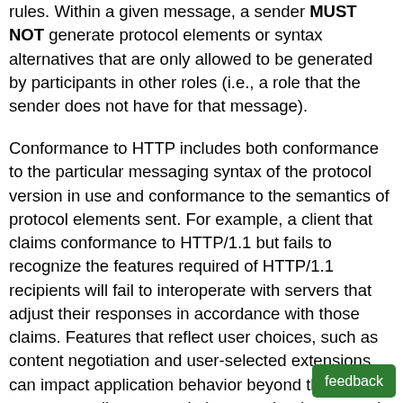rules. Within a given message, a sender MUST NOT generate protocol elements or syntax alternatives that are only allowed to be generated by participants in other roles (i.e., a role that the sender does not have for that message).
Conformance to HTTP includes both conformance to the particular messaging syntax of the protocol version in use and conformance to the semantics of protocol elements sent. For example, a client that claims conformance to HTTP/1.1 but fails to recognize the features required of HTTP/1.1 recipients will fail to interoperate with servers that adjust their responses in accordance with those claims. Features that reflect user choices, such as content negotiation and user-selected extensions, can impact application behavior beyond the protocol stream; sending protocol elements that inaccurately reflect a user's choices will confuse the user and inhibit choice.